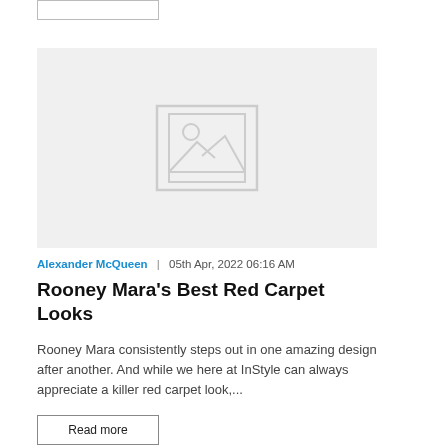[Figure (other): Placeholder image with a grey background and a mountain/photo icon in the center]
Alexander McQueen  |  05th Apr, 2022 06:16 AM
Rooney Mara&#x27;s Best Red Carpet Looks
Rooney Mara consistently steps out in one amazing design after another. And while we here at InStyle can always appreciate a killer red carpet look,...
Read more